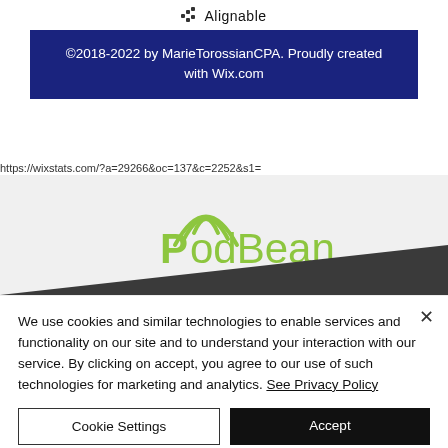Alignable
©2018-2022 by MarieTorossianCPA. Proudly created with Wix.com
https://wixstats.com/?a=29266&oc=137&c=2252&s1=
[Figure (logo): PodBean logo with green text and signal arc icon above the text]
We use cookies and similar technologies to enable services and functionality on our site and to understand your interaction with our service. By clicking on accept, you agree to our use of such technologies for marketing and analytics. See Privacy Policy
Cookie Settings
Accept